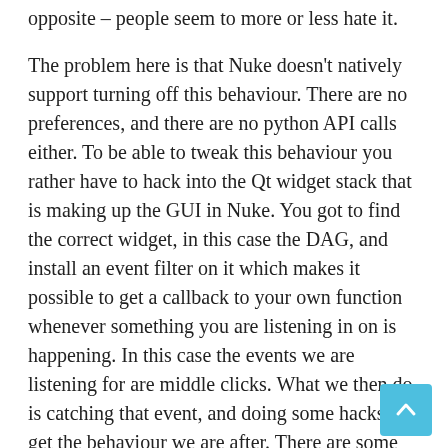opposite – people seem to more or less hate it.
The problem here is that Nuke doesn't natively support turning off this behaviour. There are no preferences, and there are no python API calls either. To be able to tweak this behaviour you rather have to hack into the Qt widget stack that is making up the GUI in Nuke. You got to find the correct widget, in this case the DAG, and install an event filter on it which makes it possible to get a callback to your own function whenever something you are listening in on is happening. In this case the events we are listening for are middle clicks. What we then do is catching that event, and doing some hacks to get the behaviour we are after. There are some filtering for only triggering our override when you middle click (actually middle press and then middle release close to the same coordinates), and not when you are using the middle mouse (read: Wacom pen) button to pan around. We also create and delete a Dot node, and send a left mouse button click instead of the middle click to the DAG